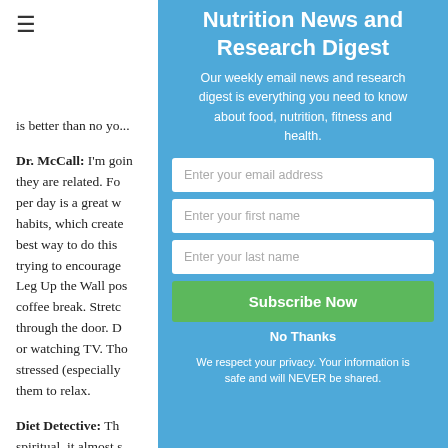≡
is better than no yo...
Dr. McCall: I'm goin... they are related. Fo... per day is a great w... habits, which create... best way to do this ... trying to encourage ... Leg Up the Wall pos... coffee break. Stretc... through the door. D... or watching TV. Tho... stressed (especially ... them to relax.
Diet Detective: Th... spiritual, it almost s...
Nutrition News and Research Digest
Our weekly email news and research digest is everything you need to know about food, nutrition, fitness and health.
Enter your email address
Enter your first name
Enter your last name
Subscribe Now
No Thanks
We respect your privacy. Your information is safe and will NEVER be shared.